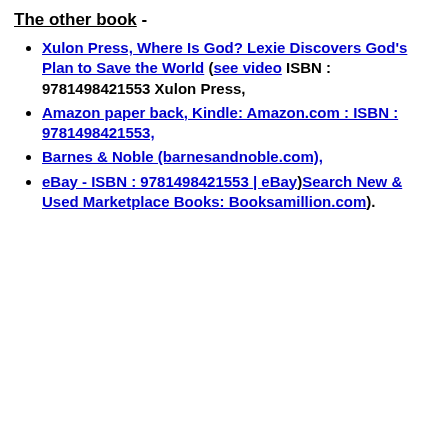The other book -
Xulon Press, Where Is God? Lexie Discovers God's Plan to Save the World (see video ISBN : 9781498421553 Xulon Press,
Amazon paper back, Kindle: Amazon.com : ISBN : 9781498421553,
Barnes & Noble (barnesandnoble.com),
eBay - ISBN : 9781498421553 | eBay)Search New & Used Marketplace Books: Booksamillion.com).